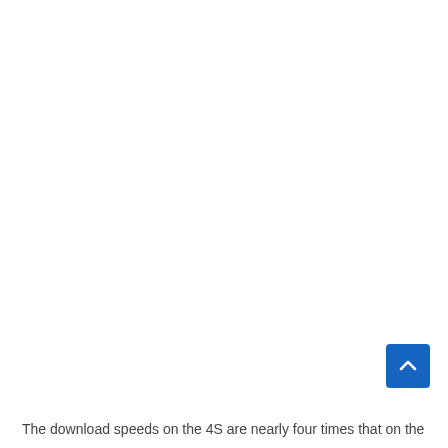[Figure (other): A blue rounded-rectangle scroll-to-top button with a white upward chevron arrow icon, positioned in the lower right area of the page.]
The download speeds on the 4S are nearly four times that on the